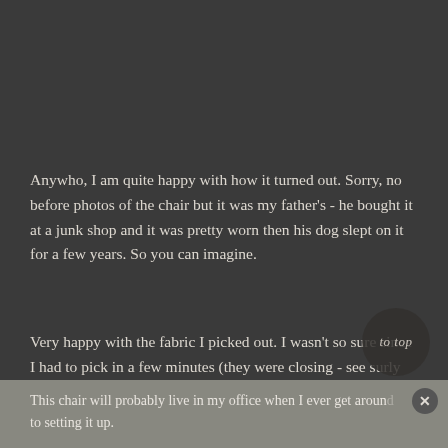Anywho, I am quite happy with how it turned out. Sorry, no before photos of the chair but it was my father's - he bought it at a junk shop and it was pretty worn then his dog slept on it for a few years. So you can imagine.
Very happy with the fabric I picked out. I wasn't so sure since I had to pick in a few minutes (they were closing - see surly mention above) from a 1000 catalogs. I found the fabric for a fraction of the cost they charged me online. I may have to buy some of this for other uses.
This chair will probably live in my office when I ever get around to setting it up.